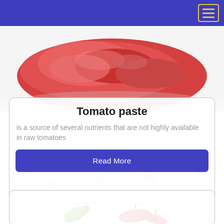[Figure (photo): Blue navigation header bar with hamburger menu icon (three horizontal yellow lines inside a yellow-bordered box) in the top right corner]
[Figure (photo): Close-up photo of red tomato paste spread on a white surface, viewed from above]
Tomato paste
is a source of several nutrients that are not highly available in raw tomatoes
Read More
[Figure (photo): Background image showing small dried tomato seeds/berries scattered on a white surface, and a second card partially visible at the bottom with green and red chili peppers]